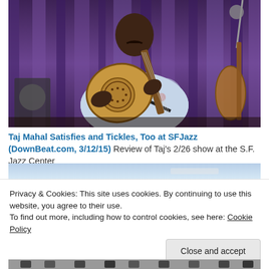[Figure (photo): A musician playing a resonator guitar, wearing a floral Hawaiian-style shirt, performing on stage with a purple curtain backdrop and another guitar visible in the background.]
Taj Mahal Satisfies and Tickles, Too at SFJazz (DownBeat.com, 3/12/15) Review of Taj's 2/26 show at the S.F. Jazz Center
[Figure (photo): Partial view of another photo, cropped, showing what appears to be an outdoor scene with sky.]
Privacy & Cookies: This site uses cookies. By continuing to use this website, you agree to their use.
To find out more, including how to control cookies, see here: Cookie Policy
Close and accept
[Figure (photo): Bottom strip of another photo showing multiple people standing.]